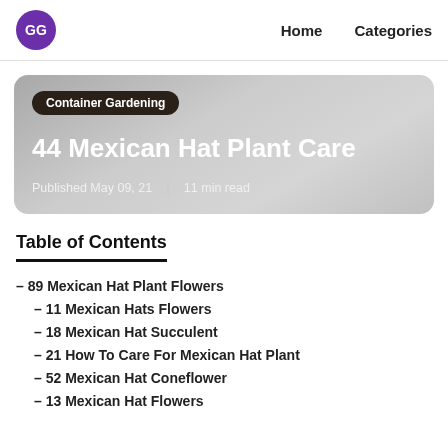GG  Home  Categories
[Figure (other): Hero card with gradient grey background showing category badge 'Container Gardening', article title '44 Mexican Hat Plant Care', published date 'May 09, 21' and '11 min read']
44 Mexican Hat Plant Care
Table of Contents
– 89 Mexican Hat Plant Flowers
– 11 Mexican Hats Flowers
– 18 Mexican Hat Succulent
– 21 How To Care For Mexican Hat Plant
– 52 Mexican Hat Coneflower
– 13 Mexican Hat Flowers